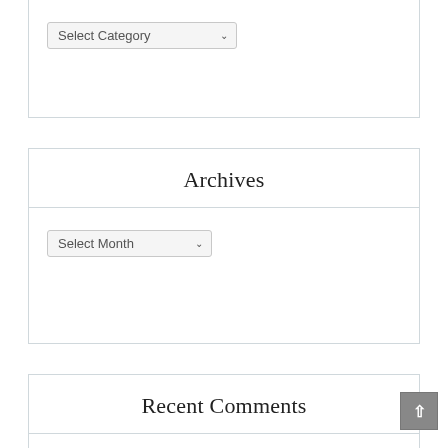Select Category (dropdown)
Archives
Select Month (dropdown)
Recent Comments
Grace B on Christmas: Come out of her, my people
admin on Christmas: Come out of her, my people
Grace B on Christmas: Come out of her, my people